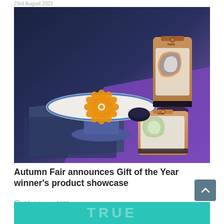23rd August 2022
[Figure (photo): Product showcase photo: a decorative ceramic cake stand with orange mandala pattern on a blue/purple background, alongside two kraft paper product pouches/packages branded 'hols', displayed on slate and purple surfaces.]
Autumn Fair announces Gift of the Year winner's product showcase
23rd August 2022